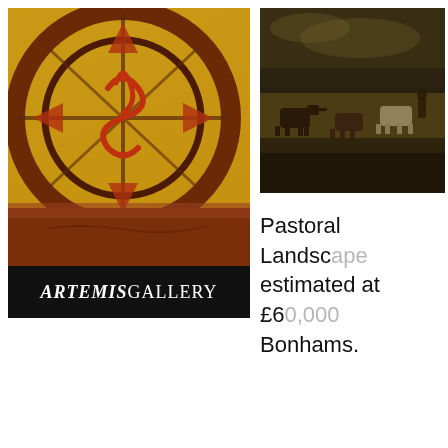[Figure (photo): Close-up photograph of a decorated ceramic plate or bowl with geometric and swirling patterns in red, orange, black on a tan/buff background. The bottom of the image shows the rim of the vessel in dark reddish-brown/terracotta. Below the image is a black bar with the Artemis Gallery logo.]
[Figure (photo): Photograph of a pastoral landscape painting showing cattle/cows in a field with hazy, dark atmospheric sky and landscape background.]
Pastoral Landscape estimated at £60 Bonhams.